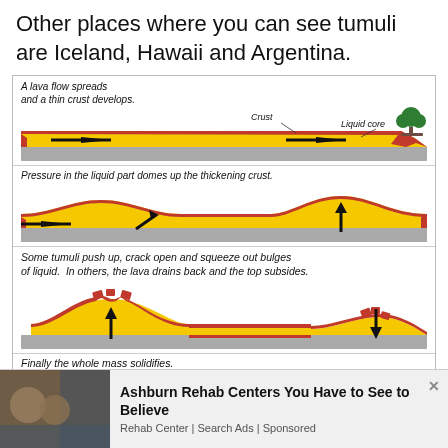Other places where you can see tumuli are Iceland, Hawaii and Argentina.
[Figure (illustration): Three-panel diagram showing the formation of tumuli in lava flows. Panel 1: A lava flow spreads and a thin crust develops, with labels 'Crust' and 'Liquid core' and arrows showing flow direction. A tree is visible at right. Panel 2: Pressure in the liquid part domes up the thickening crust, with arrows showing flow and upward pressure. Panel 3: Some tumuli push up, crack open and squeeze out bulges of liquid; in others, the lava drains back and the top subsides, shown with up and down arrows. Final text: Finally the whole mass solidifies.]
Ashburn Rehab Centers You Have to See to Believe
Rehab Center | Search Ads | Sponsored